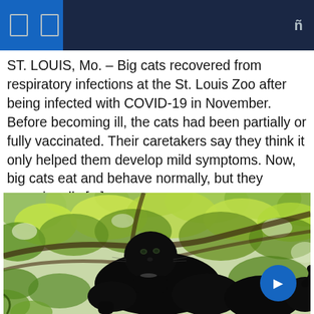ST. LOUIS, Mo. – Big cats recovered from respiratory infections at the St. Louis Zoo after being infected with COVID-19 in November. Before becoming ill, the cats had been partially or fully vaccinated. Their caretakers say they think it only helped them develop mild symptoms. Now, big cats eat and behave normally, but they occasionally [...]
[Figure (photo): Black panther standing among green leafy tree branches, looking toward the camera]